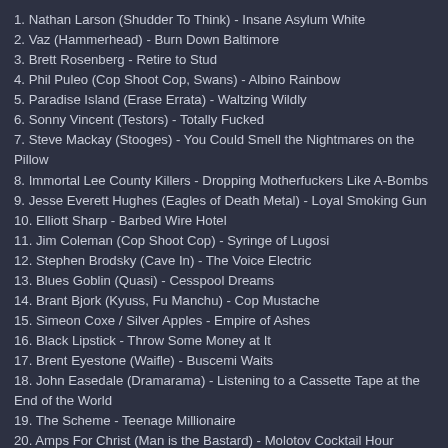1. Nathan Larson (Shudder To Think) - Insane Asylum White
2. Vaz (Hammerhead) - Burn Down Baltimore
3. Brett Rosenberg - Retire to Stud
4. Phil Puleo (Cop Shoot Cop, Swans) - Albino Rainbow
5. Paradise Island (Erase Errata) - Waltzing Wildly
6. Sonny Vincent (Testors) - Totally Fucked
7. Steve Mackay (Stooges) - You Could Smell the Nightmares on the Pillow
8. Immortal Lee County Killers - Dropping Motherfuckers Like A-Bombs
9. Jesse Everett Hughes (Eagles of Death Metal) - Loyal Smoking Gun
10. Elliott Sharp - Barbed Wire Hotel
11. Jim Coleman (Cop Shoot Cop) - Syringe of Lugosi
12. Stephen Brodsky (Cave In) - The Voice Electric
13. Blues Goblin (Quasi) - Cesspool Dreams
14. Brant Bjork (Kyuss, Fu Manchu) - Cop Mustache
15. Simeon Coxe / Silver Apples - Empire of Ashes
16. Black Lipstick - Throw Some Money at It
17. Brent Eyestone (Waifle) - Buscemi Waits
18. John Easedale (Dramarama) - Listening to a Cassette Tape at the End of the World
19. The Scheme - Teenage Millionaire
20. Amps For Christ (Man is the Bastard) - Molotov Cocktail Hour
21. R. Hoak (Brutal Truth) - Song for the Upcoming Mushroom Cloud
22. Nikki Sudden (Swell Maps) - Isle of Wight Blues